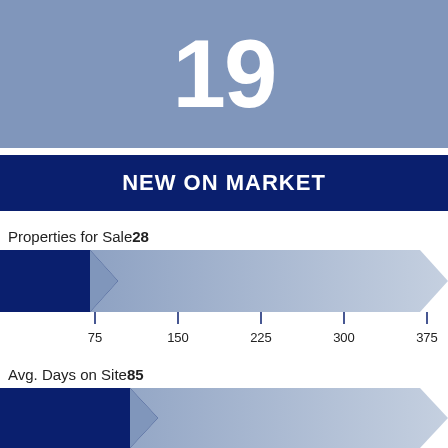19
NEW ON MARKET
Properties for Sale28
[Figure (infographic): Horizontal arrow/chevron bar chart showing Properties for Sale value of 28, with a dark navy chevron arrow on the left fading to light blue-gray. Scale axis below shows tick marks at 75, 150, 225, 300, 375.]
Avg. Days on Site85
[Figure (infographic): Horizontal arrow/chevron bar chart showing Avg. Days on Site value of 85, with a dark navy chevron arrow on the left fading to light blue-gray. Partially visible at bottom of page.]